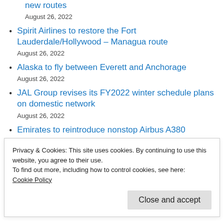new routes
August 26, 2022
Spirit Airlines to restore the Fort Lauderdale/Hollywood – Managua route
August 26, 2022
Alaska to fly between Everett and Anchorage
August 26, 2022
JAL Group revises its FY2022 winter schedule plans on domestic network
August 26, 2022
Emirates to reintroduce nonstop Airbus A380
Privacy & Cookies: This site uses cookies. By continuing to use this website, you agree to their use.
To find out more, including how to control cookies, see here:
Cookie Policy
Close and accept